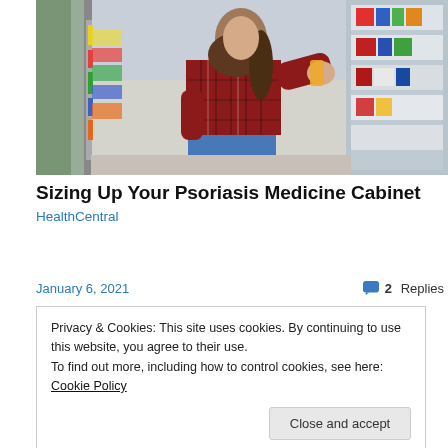[Figure (photo): Woman in plaid shirt crouching in a pharmacy/store aisle, reading a product label from a shelf stocked with various health and beauty products.]
Sizing Up Your Psoriasis Medicine Cabinet
HealthCentral
January 6, 2021
2 Replies
Privacy & Cookies: This site uses cookies. By continuing to use this website, you agree to their use.
To find out more, including how to control cookies, see here: Cookie Policy